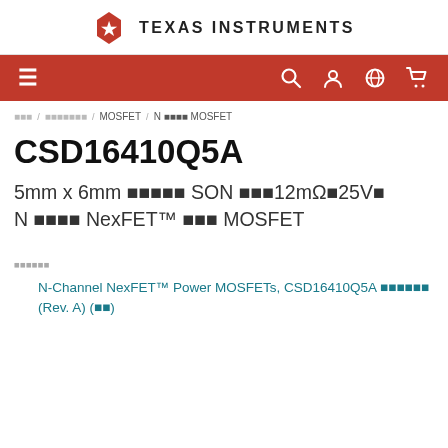Texas Instruments
Navigation bar
首页 / 半导体器件类型 / MOSFET / N 通道 MOSFET
CSD16410Q5A
5mm x 6mm 封装的 SON 12mΩ、25V、N 通道 NexFET™ 电源 MOSFET
技术文档
N-Channel NexFET™ Power MOSFETs, CSD16410Q5A 数据表 (Rev. A) (英文)